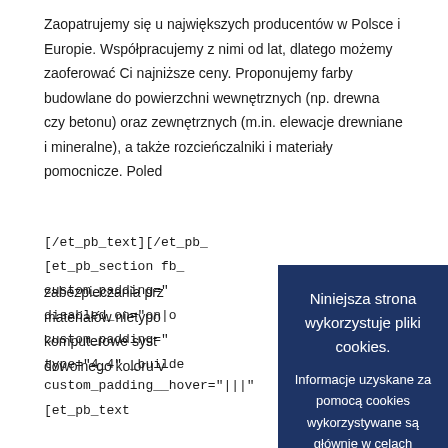Zaopatrujemy się u największych producentów w Polsce i Europie. Współpracujemy z nimi od lat, dlatego możemy zaoferować Ci najniższe ceny. Proponujemy farby budowlane do powierzchni wewnętrznych (np. drewna czy betonu) oraz zewnętrznych (m.in. elewacje drewniane i mineralne), a także rozcieńczalniki i materiały pomocnicze. Poled... zabezpieczania prz... materiałów nietypo... komputerowe syst... dowolnego koloru v...
[/et_pb_text][/et_pb... [et_pb_section fb_... custom_padding="... disabled_on="on|o... custom_padding="... type="4_4" _builde... custom_padding__hover="|||"[et_pb_text
[Figure (screenshot): Cookie consent overlay popup with dark navy background. Contains text 'Niniejsza strona wykorzystuje pliki cookies. Informacje uzyskane za pomocą cookies wykorzystywane są głównie w celach statystycznych. Pozostając na stronie godzisz się na ich zapisywanie w Twojej przeglądarce.' with buttons: 'Akceptuje' (dark), 'Odmawiam' (black), 'Czytaj więcej' (underlined white text).]